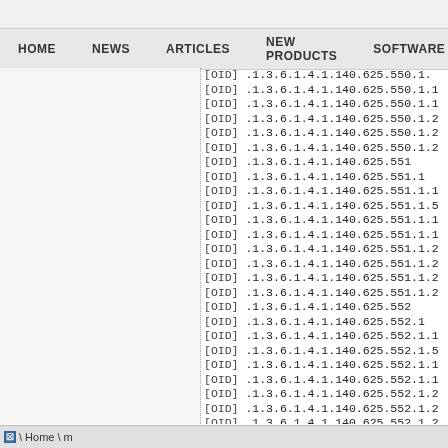HOME   NEWS   ARTICLES   NEW PRODUCTS   SOFTWARE
[OID] .1.3.6.1.4.1.140.625.550.1.1
[OID] .1.3.6.1.4.1.140.625.550.1.1
[OID] .1.3.6.1.4.1.140.625.550.1.2
[OID] .1.3.6.1.4.1.140.625.550.1.2
[OID] .1.3.6.1.4.1.140.625.550.1.2
[OID] .1.3.6.1.4.1.140.625.551
[OID] .1.3.6.1.4.1.140.625.551.1
[OID] .1.3.6.1.4.1.140.625.551.1.1
[OID] .1.3.6.1.4.1.140.625.551.1.5
[OID] .1.3.6.1.4.1.140.625.551.1.1
[OID] .1.3.6.1.4.1.140.625.551.1.1
[OID] .1.3.6.1.4.1.140.625.551.1.2
[OID] .1.3.6.1.4.1.140.625.551.1.2
[OID] .1.3.6.1.4.1.140.625.551.1.2
[OID] .1.3.6.1.4.1.140.625.551.1.2
[OID] .1.3.6.1.4.1.140.625.552
[OID] .1.3.6.1.4.1.140.625.552.1
[OID] .1.3.6.1.4.1.140.625.552.1.1
[OID] .1.3.6.1.4.1.140.625.552.1.5
[OID] .1.3.6.1.4.1.140.625.552.1.1
[OID] .1.3.6.1.4.1.140.625.552.1.1
[OID] .1.3.6.1.4.1.140.625.552.1.2
[OID] .1.3.6.1.4.1.140.625.552.1.2
[OID] .1.3.6.1.4.1.140.625.552.1.2
[OID] .1.3.6.1.4.1.140.625.553
\ Home \ m